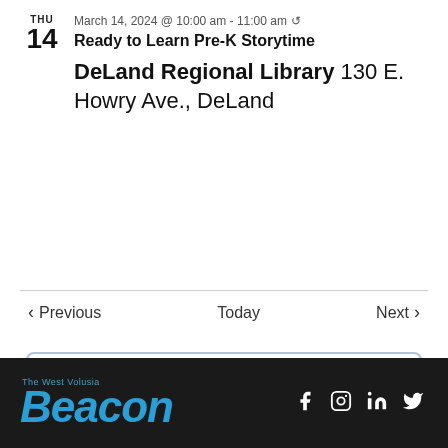THU 14 March 14, 2024 @ 10:00 am - 11:00 am ↺
Ready to Learn Pre-K Storytime
DeLand Regional Library 130 E. Howry Ave., DeLand
< Previous   Today   Next >
Subscribe to calendar ∨
[Figure (logo): The West Volusia Beacon logo in blue with social media icons (Facebook, Instagram, LinkedIn, Twitter) on dark background]